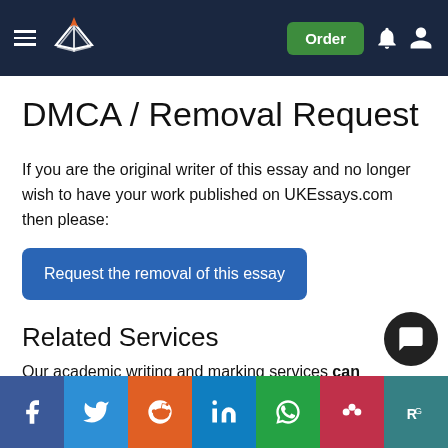UKEssays logo header with Order button, bell icon, user icon
DMCA / Removal Request
If you are the original writer of this essay and no longer wish to have your work published on UKEssays.com then please:
Request the removal of this essay
Related Services
Our academic writing and marking services can help
Find out more about our
Essay Writing Service